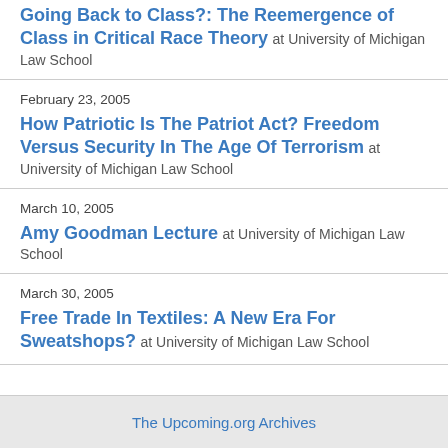Going Back to Class?: The Reemergence of Class in Critical Race Theory at University of Michigan Law School
February 23, 2005
How Patriotic Is The Patriot Act? Freedom Versus Security In The Age Of Terrorism at University of Michigan Law School
March 10, 2005
Amy Goodman Lecture at University of Michigan Law School
March 30, 2005
Free Trade In Textiles: A New Era For Sweatshops? at University of Michigan Law School
The Upcoming.org Archives